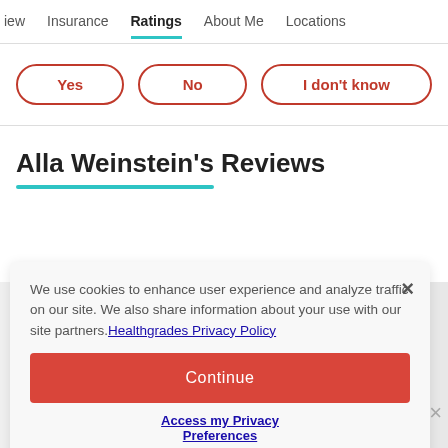iew | Insurance | Ratings | About Me | Locations
Yes
No
I don't know
Alla Weinstein's Reviews
We use cookies to enhance user experience and analyze traffic on our site. We also share information about your use with our site partners. Healthgrades Privacy Policy
Continue
Access my Privacy Preferences